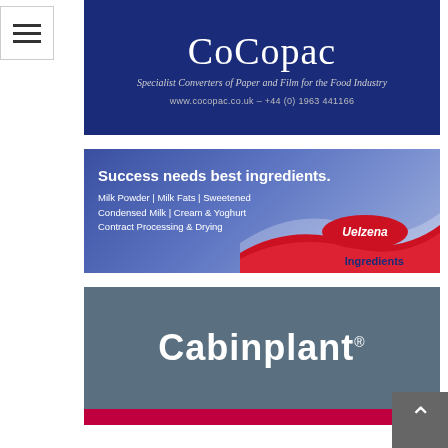[Figure (logo): Hamburger menu navigation icon, three horizontal lines, white background with border]
[Figure (logo): CoCopac banner ad — dark navy blue background, large serif white text 'CoCopac', subtitle 'Specialist Converters of Paper and Film for the Food Industry', URL 'www.cocopac.co.uk – +44 (0) 1963 441166']
[Figure (illustration): Uelzena Ingredients banner ad — blue gradient background with red/white wave graphic, bold text 'Success needs best ingredients.', product list 'Milk Powder | Milk Fats | Sweetened Condensed Milk | Cream & Yoghurt Contract Processing & Drying', Uelzena Ingredients oval logo bottom right]
[Figure (logo): Cabinplant banner ad — grey-blue background, large bold white text 'Cabinplant' with registered trademark symbol]
[Figure (logo): Partial banner strip at bottom, dark red/magenta color]
[Figure (logo): Back-to-top button, dark grey square with white chevron/caret, bottom right corner]